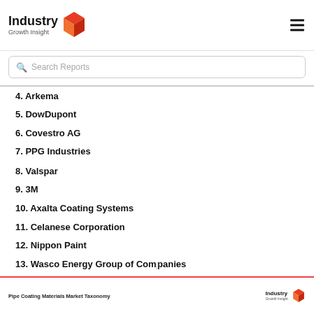[Figure (logo): Industry Growth Insight logo with red 3D box icon and hamburger menu icon]
Search Reports
4. Arkema
5. DowDupont
6. Covestro AG
7. PPG Industries
8. Valspar
9. 3M
10. Axalta Coating Systems
11. Celanese Corporation
12. Nippon Paint
13. Wasco Energy Group of Companies
14. The Bayou Companies
Pipe Coating Materials Market Taxonomy